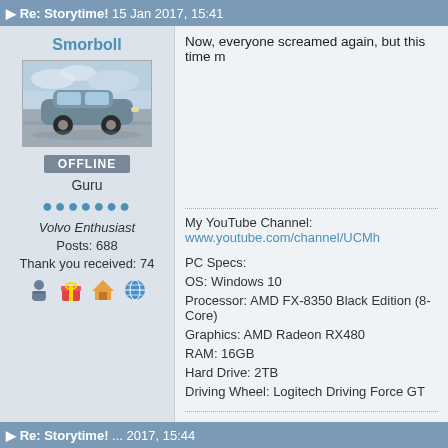Re: Storytime! 15 Jan 2017, 15:41
Smorboll
[Figure (photo): Avatar photo of a grey Volvo sedan car driving on a road with cloudy sky background]
OFFLINE
Guru
Volvo Enthusiast
Posts: 688
Thank you received: 74
Now, everyone screamed again, but this time m
My YouTube Channel: www.youtube.com/channel/UCMh
PC Specs:
OS: Windows 10
Processor: AMD FX-8350 Black Edition (8-Core)
Graphics: AMD Radeon RX480
RAM: 16GB
Hard Drive: 2TB
Driving Wheel: Logitech Driving Force GT
Re: Storytime! ...